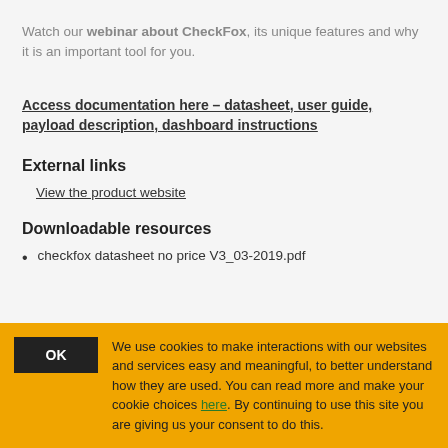Watch our webinar about CheckFox, its unique features and why it is an important tool for you.
Access documentation here – datasheet, user guide, payload description, dashboard instructions
External links
View the product website
Downloadable resources
checkfox datasheet no price V3_03-2019.pdf
We use cookies to make interactions with our websites and services easy and meaningful, to better understand how they are used. You can read more and make your cookie choices here. By continuing to use this site you are giving us your consent to do this.